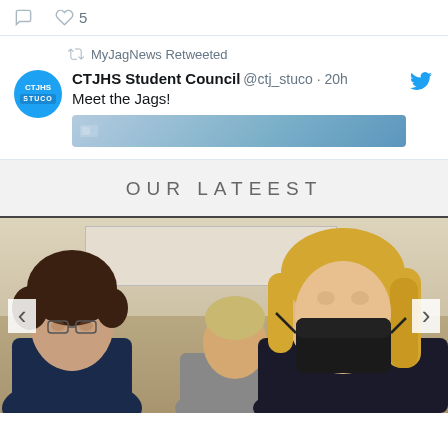[Figure (screenshot): Twitter/X interaction icons: comment bubble and heart with count 5]
MyJagNews Retweeted
CTJHS Student Council @ctj_stuco · 20h
Meet the Jags!
[Figure (screenshot): Partial image preview in tweet, bluish banner]
OUR LATEEST
[Figure (photo): Students in a classroom setting; one student on the right wearing a black face mask with long blonde hair looking down; another student on the left with curly hair; a student in the background with short hair in a gray shirt]